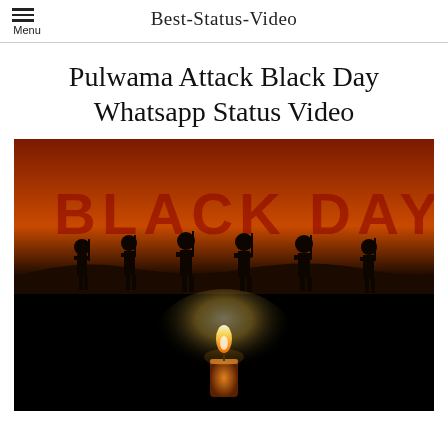Best-Status-Video
Pulwama Attack Black Day Whatsapp Status Video
[Figure (photo): Dark atmospheric image showing silhouettes of soldiers against an orange-red background with 'BLACK DAY' text, and a single lit candle in the foreground against a black background.]